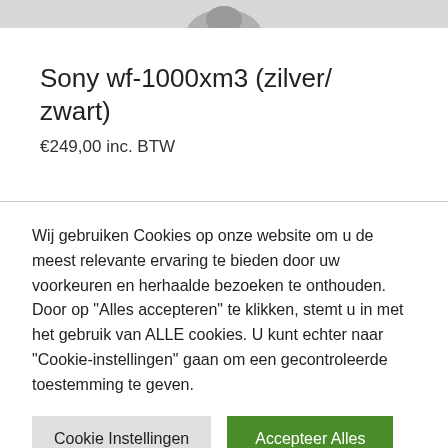[Figure (photo): Partial product image of Sony WF-1000XM3 earbuds, cropped at top]
Sony wf-1000xm3 (zilver/zwart)
€249,00 inc. BTW
Wij gebruiken Cookies op onze website om u de meest relevante ervaring te bieden door uw voorkeuren en herhaalde bezoeken te onthouden. Door op "Alles accepteren" te klikken, stemt u in met het gebruik van ALLE cookies. U kunt echter naar "Cookie-instellingen" gaan om een gecontroleerde toestemming te geven.
Cookie Instellingen
Accepteer Alles